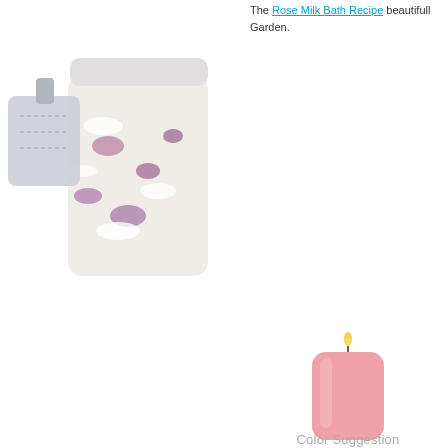The Rose Milk Bath Recipe beautifully Garden.
[Figure (photo): Bath salts in a jar with a fabric teabag pouch, decorated with flower print]
We'd re per fou
[Figure (illustration): Pink pillar candle with a lit flame]
Color Suggestion
Best Flora
[Figure (photo): Purple violet flowers on a pink background]
This fragran Most violet s violet fragra